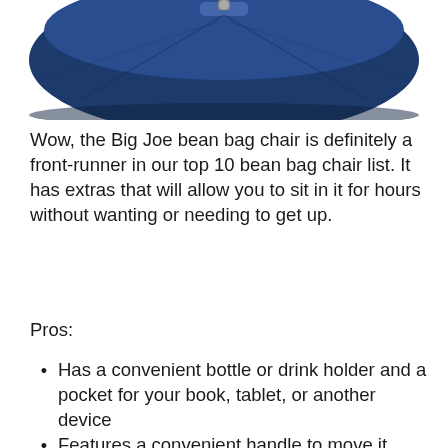[Figure (photo): Partial view of a navy blue Big Joe bean bag chair showing the top portion with a handle/zipper, cropped at the top of the page.]
Wow, the Big Joe bean bag chair is definitely a front-runner in our top 10 bean bag chair list. It has extras that will allow you to sit in it for hours without wanting or needing to get up.
Pros:
Has a convenient bottle or drink holder and a pocket for your book, tablet, or another device
Features a convenient handle to move it around the house easily.
Durable and stain-resistant upholstery